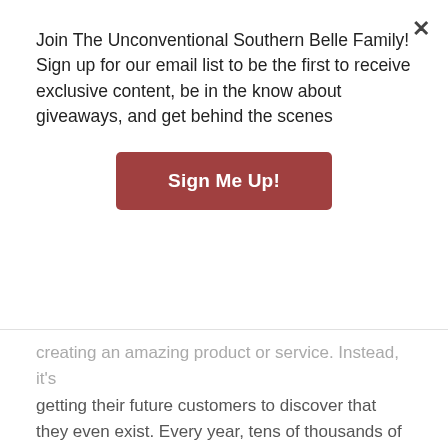Join The Unconventional Southern Belle Family! Sign up for our email list to be the first to receive exclusive content, be in the know about giveaways, and get behind the scenes
Sign Me Up!
creating an amazing product or service. Instead, it's getting their future customers to discover that they even exist. Every year, tens of thousands of businesses start and fail. This is because the entrepreneurs don't understand this one essential skill: the art and science of getting consumers to find you.
[Figure (photo): Woman with natural curly hair wearing hoop earrings and a white t-shirt sitting on a brown leather couch, reading a book. Another person with a red cap is partially visible beside her.]